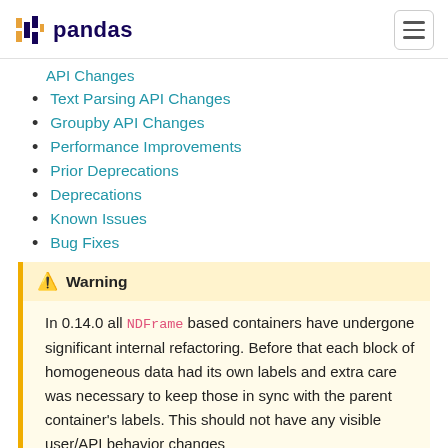pandas
API Changes (partial, cut off at top)
Text Parsing API Changes
Groupby API Changes
Performance Improvements
Prior Deprecations
Deprecations
Known Issues
Bug Fixes
Warning
In 0.14.0 all NDFrame based containers have undergone significant internal refactoring. Before that each block of homogeneous data had its own labels and extra care was necessary to keep those in sync with the parent container’s labels. This should not have any visible user/API behavior changes